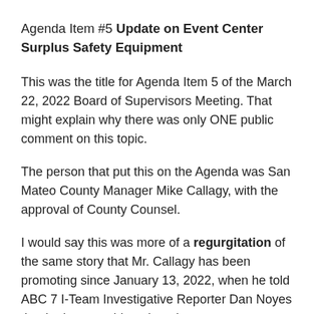Agenda Item #5 Update on Event Center Surplus Safety Equipment
This was the title for Agenda Item 5 of the March 22, 2022 Board of Supervisors Meeting. That might explain why there was only ONE public comment on this topic.
The person that put this on the Agenda was San Mateo County Manager Mike Callagy, with the approval of County Counsel.
I would say this was more of a regurgitation of the same story that Mr. Callagy has been promoting since January 13, 2022, when he told ABC 7 I-Team Investigative Reporter Dan Noyes that he knew nothing about it.
San Mateo County News.com Article March 21, 2022